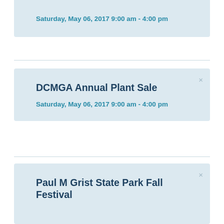Saturday, May 06, 2017 9:00 am - 4:00 pm
DCMGA Annual Plant Sale
Saturday, May 06, 2017 9:00 am - 4:00 pm
Paul M Grist State Park Fall Festival